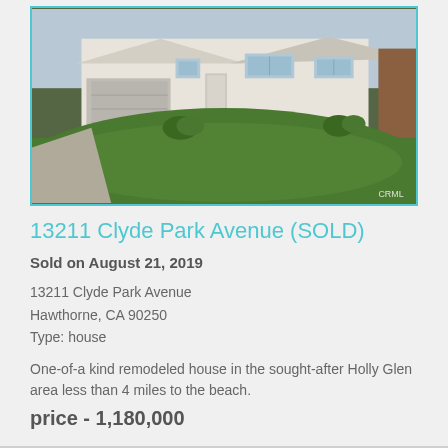[Figure (photo): Exterior photo of a white single-story ranch-style house with large green lawn, driveway to the left, and CRML watermark in the bottom-right corner.]
13211 Clyde Park Avenue (SOLD)
Sold on August 21, 2019
13211 Clyde Park Avenue
Hawthorne, CA 90250
Type: house
One-of-a kind remodeled house in the sought-after Holly Glen area less than 4 miles to the beach.
price - 1,180,000